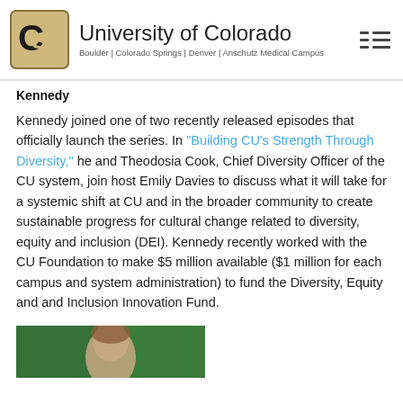University of Colorado — Boulder | Colorado Springs | Denver | Anschutz Medical Campus
Kennedy
Kennedy joined one of two recently released episodes that officially launch the series. In "Building CU's Strength Through Diversity," he and Theodosia Cook, Chief Diversity Officer of the CU system, join host Emily Davies to discuss what it will take for a systemic shift at CU and in the broader community to create sustainable progress for cultural change related to diversity, equity and inclusion (DEI). Kennedy recently worked with the CU Foundation to make $5 million available ($1 million for each campus and system administration) to fund the Diversity, Equity and and Inclusion Innovation Fund.
[Figure (photo): Partial photo of a person at bottom of page]